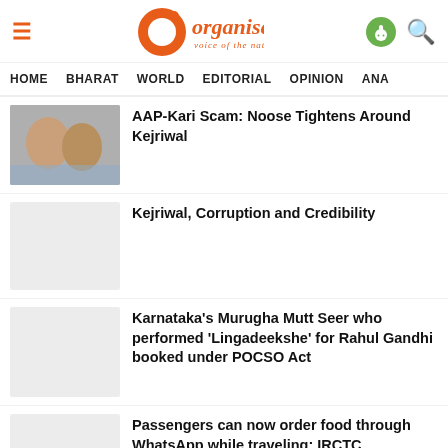Organiser — Voice of the Nation
HOME   BHARAT   WORLD   EDITORIAL   OPINION   ANA
AAP-Kari Scam: Noose Tightens Around Kejriwal
Kejriwal, Corruption and Credibility
Karnataka's Murugha Mutt Seer who performed 'Lingadeekshe' for Rahul Gandhi booked under POCSO Act
Passengers can now order food through WhatsApp while traveling: IRCTC
Talaq-e-Hasan: SC issues notice to husband